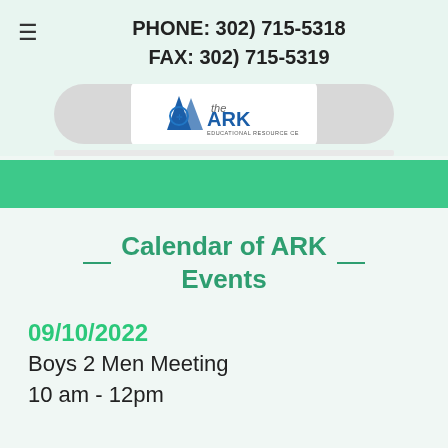PHONE: 302) 715-5318
FAX: 302) 715-5319
[Figure (logo): The ARK Educational Resource Center logo — blue sailboat/triangle shape with 'the ARK' text and 'EDUCATIONAL RESOURCE CENTER' below]
Calendar of ARK Events
09/10/2022
Boys 2 Men Meeting
10 am - 12pm